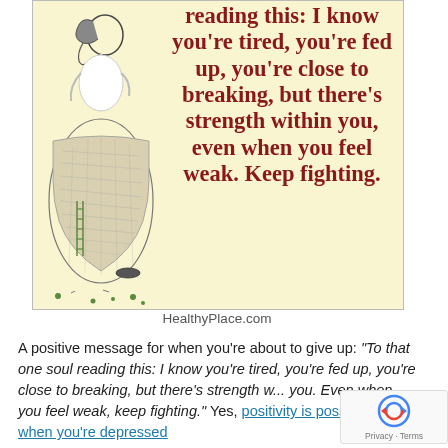[Figure (illustration): Motivational quote card with a light yellow background. Left side shows a pencil sketch illustration of a girl sitting with her back to the viewer, wearing a textured skirt with a small ladder visible. Right side has text in dark red bold serif font reading: 'reading this: I know you're tired, you're fed up, you're close to breaking, but there's strength within you, even when you feel weak. Keep fighting.']
HealthyPlace.com
A positive message for when you're about to give up: "To that one soul reading this: I know you're tired, you're fed up, you're close to breaking, but there's strength w... you. Even when you feel weak, keep fighting." Yes, positivity is possible even when you're depressed